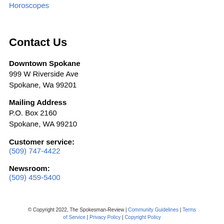Horoscopes
Contact Us
Downtown Spokane
999 W Riverside Ave
Spokane, Wa 99201
Mailing Address
P.O. Box 2160
Spokane, WA 99210
Customer service:
(509) 747-4422
Newsroom:
(509) 459-5400
© Copyright 2022, The Spokesman-Review | Community Guidelines | Terms of Service | Privacy Policy | Copyright Policy